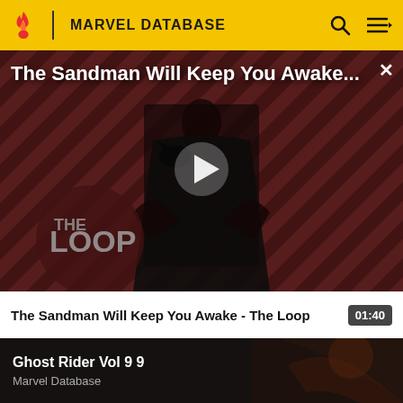MARVEL DATABASE
[Figure (screenshot): Video thumbnail for 'The Sandman Will Keep You Awake - The Loop' showing a figure in black with a crow on a red diagonal striped background with THE LOOP logo. A play button is centered on the image.]
The Sandman Will Keep You Awake - The Loop  01:40
[Figure (screenshot): Dark thumbnail image for Ghost Rider Vol 9 9 from Marvel Database, showing a dark action scene with orange/red tones.]